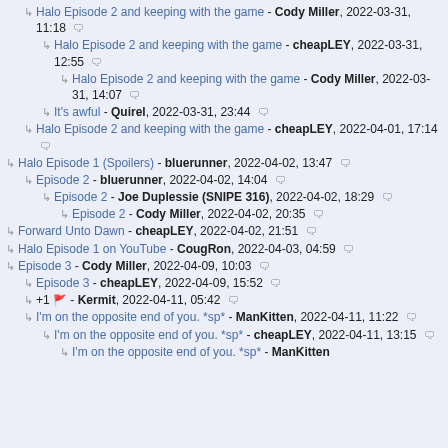Halo Episode 2 and keeping with the game - Cody Miller, 2022-03-31, 11:18
Halo Episode 2 and keeping with the game - cheapLEY, 2022-03-31, 12:55
Halo Episode 2 and keeping with the game - Cody Miller, 2022-03-31, 14:07
It's awful - Quirel, 2022-03-31, 23:44
Halo Episode 2 and keeping with the game - cheapLEY, 2022-04-01, 17:14
Halo Episode 1 (Spoilers) - bluerunner, 2022-04-02, 13:47
Episode 2 - bluerunner, 2022-04-02, 14:04
Episode 2 - Joe Duplessie (SNIPE 316), 2022-04-02, 18:29
Episode 2 - Cody Miller, 2022-04-02, 20:35
Forward Unto Dawn - cheapLEY, 2022-04-02, 21:51
Halo Episode 1 on YouTube - CougRon, 2022-04-03, 04:59
Episode 3 - Cody Miller, 2022-04-09, 10:03
Episode 3 - cheapLEY, 2022-04-09, 15:52
+1 [flag] - Kermit, 2022-04-11, 05:42
I'm on the opposite end of you. *sp* - ManKitten, 2022-04-11, 11:22
I'm on the opposite end of you. *sp* - cheapLEY, 2022-04-11, 13:15
I'm on the opposite end of you. *sp* - ManKitten